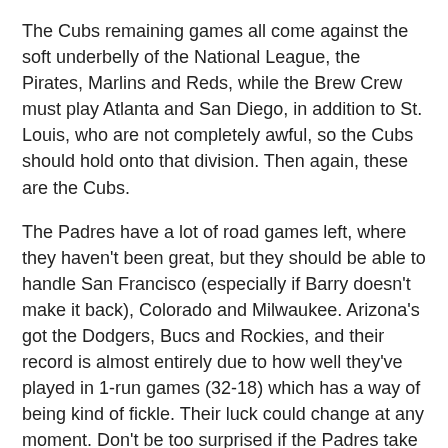The Cubs remaining games all come against the soft underbelly of the National League, the Pirates, Marlins and Reds, while the Brew Crew must play Atlanta and San Diego, in addition to St. Louis, who are not completely awful, so the Cubs should hold onto that division. Then again, these are the Cubs.
The Padres have a lot of road games left, where they haven't been great, but they should be able to handle San Francisco (especially if Barry doesn't make it back), Colorado and Milwaukee. Arizona's got the Dodgers, Bucs and Rockies, and their record is almost entirely due to how well they've played in 1-run games (32-18) which has a way of being kind of fickle. Their luck could change at any moment. Don't be too surprised if the Padres take the division from them and they miss the playoffs, with Philly picking up the Wild Card.
Seven of the Phils' remaining 10 games come against the Nationals, and while they don't look like they've got the pitching to get into the playoffs, the Nats don't have the pitching (or offense) to stop them either. They're not likely to catch the Mets though, as New York has no games left